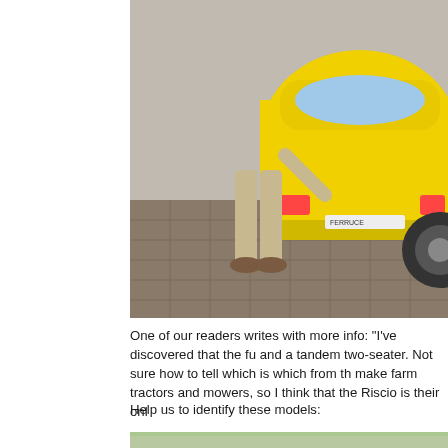[Figure (photo): A yellow small compact/microcar (rear view) on cobblestone street, with a person standing next to it pointing at the car.]
One of our readers writes with more info: "I've discovered that the fu and a tandem two-seater. Not sure how to tell which is which from th make farm tractors and mowers, so I think that the Riscio is their onl
Help us to identify these models:
[Figure (photo): A white small van/microvan parked near a tree in front of an 'EXPRESS SHOPPING' store with green striped facade.]